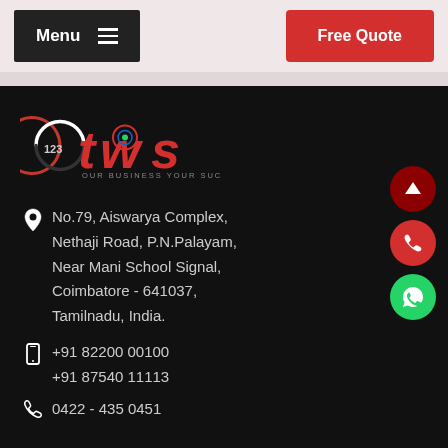Menu | Free Quote
[Figure (logo): 123TWS logo - OUR BUSINESS YOUR SUCCESS]
No.79, Aiswarya Complex, Nethaji Road, P.N.Palayam, Near Mani School Signal, Coimbatore - 641037, Tamilnadu, India.
+91 82200 00100
+91 87540 11113
0422 - 435 0451